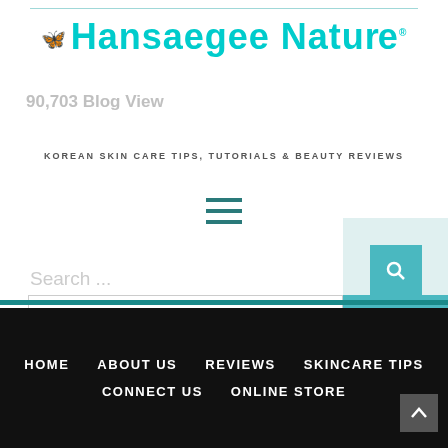Hansaegee Nature — KOREAN SKIN CARE TIPS, TUTORIALS & BEAUTY REVIEWS
90,703 Blog View
[Figure (other): Hamburger menu icon with three horizontal teal lines]
Search ...
Sort by
Relevance
Email Address
SUBSCRIBE
HOME   ABOUT US   REVIEWS   SKINCARE TIPS   CONNECT US   ONLINE STORE